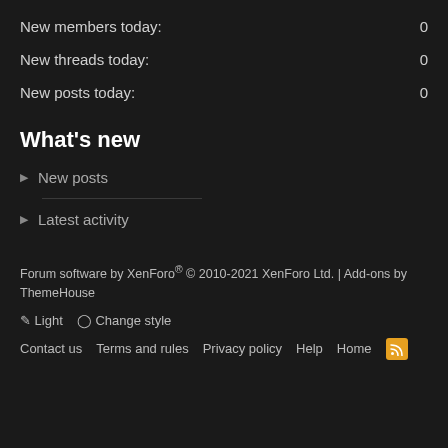New members today: 0
New threads today: 0
New posts today: 0
What's new
New posts
Latest activity
Forum software by XenForo® © 2010-2021 XenForo Ltd. | Add-ons by ThemeHouse
Light  Change style
Contact us  Terms and rules  Privacy policy  Help  Home